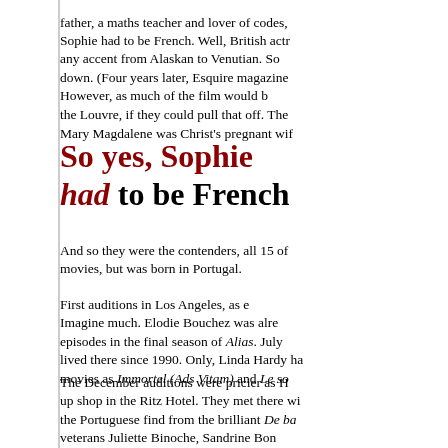father, a maths teacher and lover of codes,
Sophie had to be French. Well, British actresses can do any accent from Alaskan to Venutian. So down. (Four years later, Esquire magazine However, as much of the film would be the Louvre, if they could pull that off. The Mary Magdalene was Christ's pregnant wife
So yes, Sophie had to be French
And so they were the contenders, all 15 of movies, but was born in Portugal.
First auditions in Los Angeles, as e Imagine much. Elodie Bouchez was alre episodes in the final season of Alias. July lived there since 1990. Only, Linda Hardy ha movies as Immortel (Ads Vitam) and Le so
The December auditions were pricier as H up shop in the Ritz Hotel. They met there wi the Portuguese find from the brilliant De ba veterans Juliette Binoche, Sandrine Bon Oscar for The English Patient, 1996) bu likely, for Hanks). Marion Cotillard's day - year, thanks to her Edith Piaf biopic, La mô
And then there were two steady rivals in th